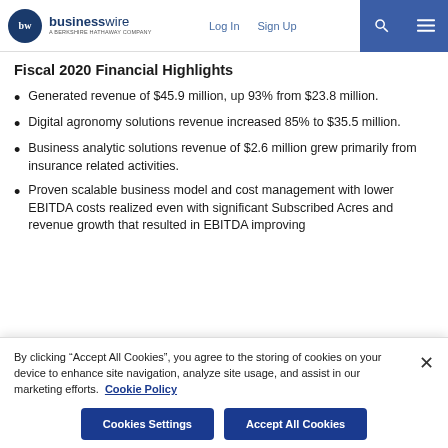businesswire — a Berkshire Hathaway Company | Log In | Sign Up
Fiscal 2020 Financial Highlights
Generated revenue of $45.9 million, up 93% from $23.8 million.
Digital agronomy solutions revenue increased 85% to $35.5 million.
Business analytic solutions revenue of $2.6 million grew primarily from insurance related activities.
Proven scalable business model and cost management with lower EBITDA costs realized even with significant Subscribed Acres and revenue growth that resulted in EBITDA improving
By clicking "Accept All Cookies", you agree to the storing of cookies on your device to enhance site navigation, analyze site usage, and assist in our marketing efforts. Cookie Policy
Cookies Settings | Accept All Cookies